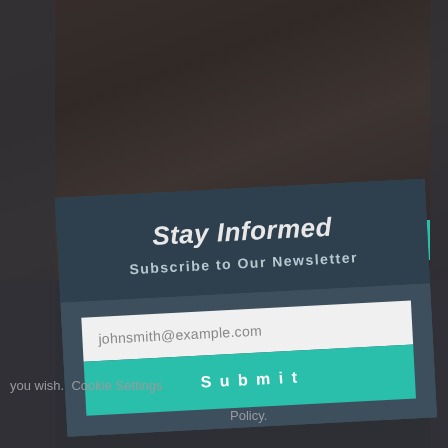[Figure (screenshot): A dimmed background showing an elderly person partially visible, with a dark overlay. A newsletter subscription modal card is displayed on top, slightly rotated, with a dark blue-gray color scheme. The modal contains a title 'Stay Informed', subtitle 'Subscribe to Our Newsletter', an email input field with placeholder 'johnsmith@example.com', and a teal Submit button.]
Stay Informed
Subscribe to Our Newsletter
johnsmith@example.com
Submit
you wish.  Cookie Settings
Policy.